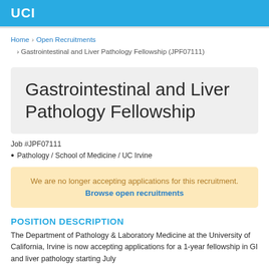UCI
Home › Open Recruitments › Gastrointestinal and Liver Pathology Fellowship (JPF07111)
Gastrointestinal and Liver Pathology Fellowship
Job #JPF07111
Pathology / School of Medicine / UC Irvine
We are no longer accepting applications for this recruitment. Browse open recruitments
POSITION DESCRIPTION
The Department of Pathology & Laboratory Medicine at the University of California, Irvine is now accepting applications for a 1-year fellowship in GI and liver pathology starting July